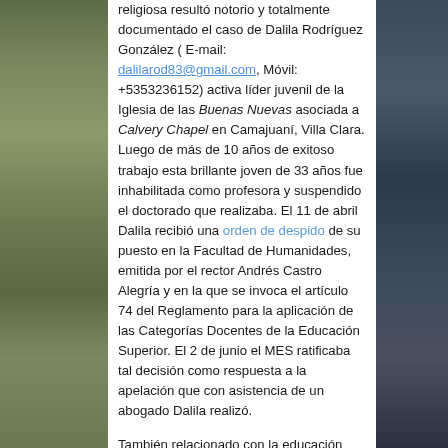[Figure (photo): Left side partial photo, appears to be outdoor foliage/nature scene]
[Figure (photo): Right side partial photo, dark toned outdoor scene]
religiosa resultó notorio y totalmente documentado el caso de Dalila Rodríguez González ( E-mail: dalilarod83@gmail.com, Móvil: +5353236152) activa líder juvenil de la Iglesia de las Buenas Nuevas asociada a Calvery Chapel en Camajuaní, Villa Clara. Luego de más de 10 años de exitoso trabajo esta brillante joven de 33 años fue inhabilitada como profesora y suspendido el doctorado que realizaba. El 11 de abril Dalila recibió una orden de despido de su puesto en la Facultad de Humanidades, emitida por el rector Andrés Castro Alegría y en la que se invoca el artículo 74 del Reglamento para la aplicación de las Categorías Docentes de la Educación Superior. El 2 de junio el MES ratificaba tal decisión como respuesta a la apelación que con asistencia de un abogado Dalila realizó.
También relacionado con la educación durante este primer semestre de 2017 el Ministerio de Educación Superior (MES) continúo sin reconocer a la totalidad de los seminarios bíblicos y teológicos del país, a pesar de estar reconocidos por sus asociaciones, y en ninguna de las universidades del país existen facultades teológicas